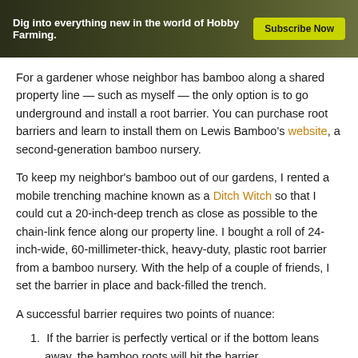[Figure (photo): Banner advertisement for Hobby Farming with dark landscape background showing trees and fields. Text reads 'Dig into everything new in the world of Hobby Farming.' with a yellow-green 'Subscribe Now' button.]
For a gardener whose neighbor has bamboo along a shared property line — such as myself — the only option is to go underground and install a root barrier. You can purchase root barriers and learn to install them on Lewis Bamboo's website, a second-generation bamboo nursery.
To keep my neighbor's bamboo out of our gardens, I rented a mobile trenching machine known as a Ditch Witch so that I could cut a 20-inch-deep trench as close as possible to the chain-link fence along our property line. I bought a roll of 24-inch-wide, 60-millimeter-thick, heavy-duty, plastic root barrier from a bamboo nursery. With the help of a couple of friends, I set the barrier in place and back-filled the trench.
A successful barrier requires two points of nuance:
1. If the barrier is perfectly vertical or if the bottom leans away, the bamboo roots will hit the barrier